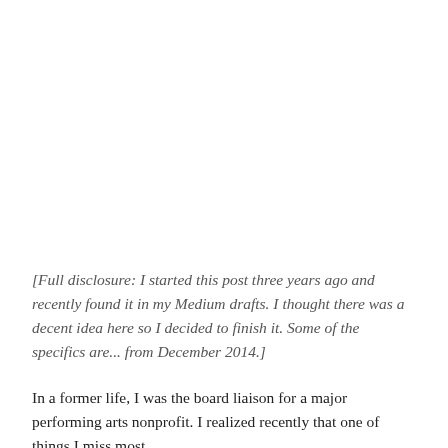[Full disclosure: I started this post three years ago and recently found it in my Medium drafts. I thought there was a decent idea here so I decided to finish it. Some of the specifics are... from December 2014.]
In a former life, I was the board liaison for a major performing arts nonprofit. I realized recently that one of things I miss most